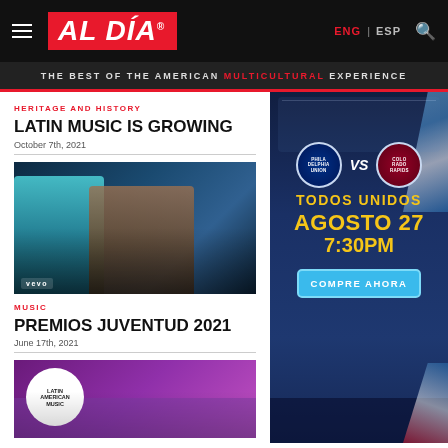AL DÍA — ENG | ESP
THE BEST OF THE AMERICAN MULTICULTURAL EXPERIENCE
HERITAGE AND HISTORY
LATIN MUSIC IS GROWING
October 7th, 2021
[Figure (photo): Two music artists on stage, one with turquoise hair, vevo watermark visible]
MUSIC
PREMIOS JUVENTUD 2021
June 17th, 2021
[Figure (photo): Latin American Music awards show thumbnail with purple background and circular logo]
[Figure (infographic): Philadelphia Union vs Colorado Rapids soccer ad — TODOS UNIDOS, AGOSTO 27, 7:30PM, COMPRE AHORA]